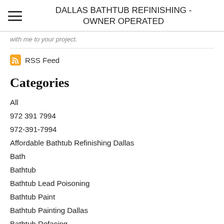DALLAS BATHTUB REFINISHING - OWNER OPERATED
with me to your project.
RSS Feed
Categories
All
972 391 7994
972-391-7994
Affordable Bathtub Refinishing Dallas
Bath
Bathtub
Bathtub Lead Poisoning
Bathtub Paint
Bathtub Painting Dallas
Bathtub Refacing
Bathtub Refacing Dallas
Bathtubrefinishing
Bathtub Refinishing